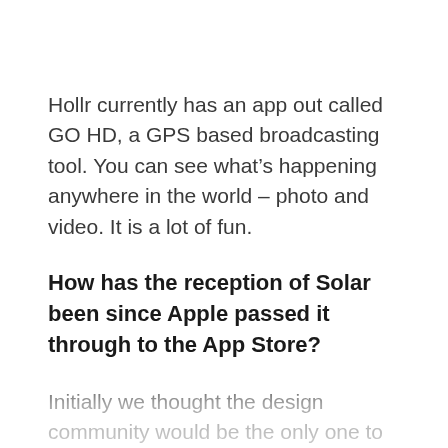Hollr currently has an app out called GO HD, a GPS based broadcasting tool. You can see what's happening anywhere in the world – photo and video. It is a lot of fun.
How has the reception of Solar been since Apple passed it through to the App Store?
Initially we thought the design community would be the only one to embrace what we were trying to do. Judging by the response though, good design is universal and a lot of people were blown away. It provided exactly what they were looking for, it seems.